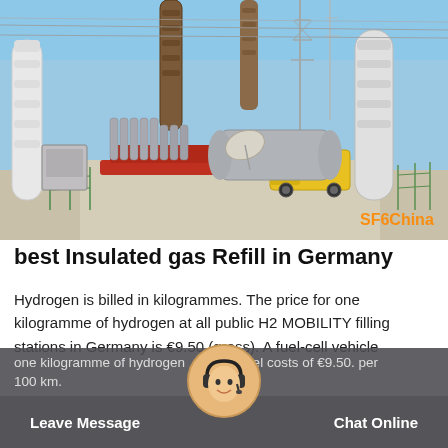[Figure (photo): Industrial electrical substation with high-voltage equipment, insulators, steel towers, gas cylinders, and a yellow truck. Watermark reads 'SF6China' in orange.]
best Insulated gas Refill in Germany
Hydrogen is billed in kilogrammes. The price for one kilogramme of hydrogen at all public H2 MOBILITY filling stations in Germany is €9.50 (gross). A fuel-cell vehicle consumes approx. one kilogramme of hydrogen per 100 km, so fuel costs of €9.50. per 100 km.
Leave Message   Chat Online